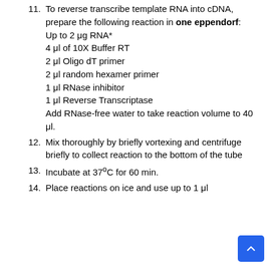11. To reverse transcribe template RNA into cDNA, prepare the following reaction in one eppendorf: Up to 2 μg RNA* 4 μl of 10X Buffer RT 2 μl Oligo dT primer 2 μl random hexamer primer 1 μl RNase inhibitor 1 μl Reverse Transcriptase Add RNase-free water to take reaction volume to 40 μl.
12. Mix thoroughly by briefly vortexing and centrifuge briefly to collect reaction to the bottom of the tube
13. Incubate at 37°C for 60 min.
14. Place reactions on ice and use up to 1 μl